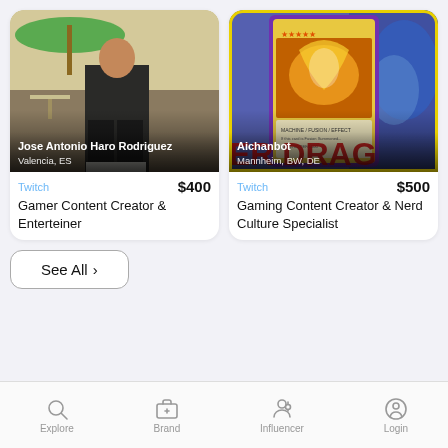[Figure (screenshot): Mobile app screenshot showing two influencer/creator profile cards. Left card shows Jose Antonio Haro Rodriguez from Valencia, ES on Twitch for $400 as Gamer Content Creator & Enterteiner. Right card shows Aichanbot from Mannheim, BW, DE on Twitch for $500 as Gaming Content Creator & Nerd Culture Specialist. Below the cards is a 'See All >' button. Bottom navigation bar has Explore, Brand, Influencer, Login tabs.]